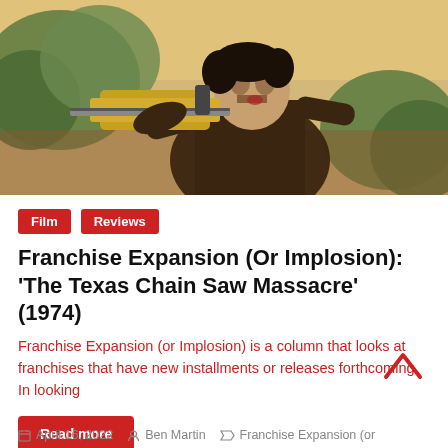[Figure (photo): Person in a mask holding a chainsaw outdoors, movie scene from The Texas Chain Saw Massacre]
Film
Reviews
Franchise Expansion (Or Implosion): ‘The Texas Chain Saw Massacre’ (1974)
Franchise Expansion (or Implosion) is a column that looks at franchises that have new installments or releases forthcoming. In looking
Read more
April 16, 2022   Ben Martin   Franchise Expansion (or